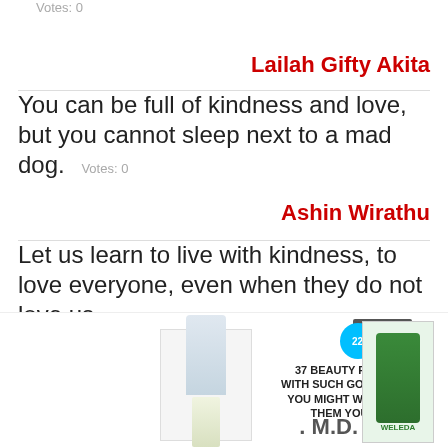Votes: 0
Lailah Gifty Akita
You can be full of kindness and love, but you cannot sleep next to a mad dog.   Votes: 0
Ashin Wirathu
Let us learn to live with kindness, to love everyone, even when they do not love us.
Votes: 0
Pope Francis
You think that you have everything, but truly you have nothing but your wisdom, love and kindness
[Figure (screenshot): Advertisement overlay: beauty product ad showing Cetaphil and Weleda skin care products with text '37 BEAUTY PRODUCTS WITH SUCH GOOD REVIEWS YOU MIGHT WANT TO TRY THEM YOURSELF', with a CLOSE button.]